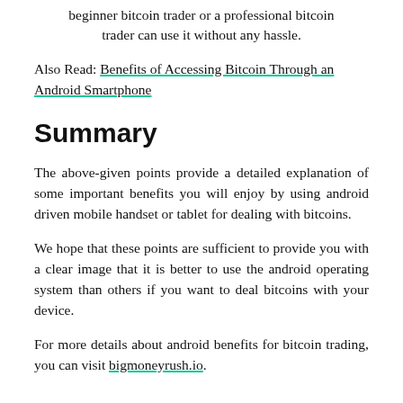beginner bitcoin trader or a professional bitcoin trader can use it without any hassle.
Also Read: Benefits of Accessing Bitcoin Through an Android Smartphone
Summary
The above-given points provide a detailed explanation of some important benefits you will enjoy by using android driven mobile handset or tablet for dealing with bitcoins.
We hope that these points are sufficient to provide you with a clear image that it is better to use the android operating system than others if you want to deal bitcoins with your device.
For more details about android benefits for bitcoin trading, you can visit bigmoneyrush.io.